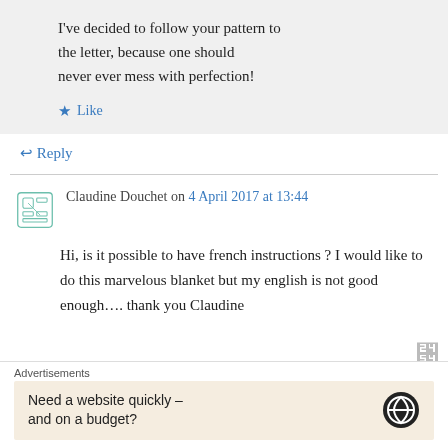I've decided to follow your pattern to the letter, because one should never ever mess with perfection!
Like
Reply
Claudine Douchet on 4 April 2017 at 13:44
Hi, is it possible to have french instructions ? I would like to do this marvelous blanket but my english is not good enough…. thank you Claudine
Advertisements
Need a website quickly – and on a budget?